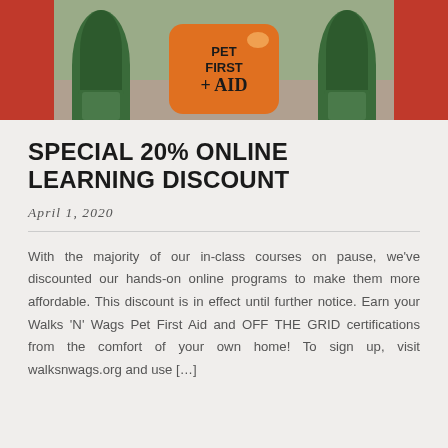[Figure (photo): Photo of a Pet First Aid kit bag (orange) flanked by two green potted plants against a red background]
SPECIAL 20% ONLINE LEARNING DISCOUNT
April 1, 2020
With the majority of our in-class courses on pause, we've discounted our hands-on online programs to make them more affordable. This discount is in effect until further notice. Earn your Walks 'N' Wags Pet First Aid and OFF THE GRID certifications from the comfort of your own home! To sign up, visit walksnwags.org and use […]